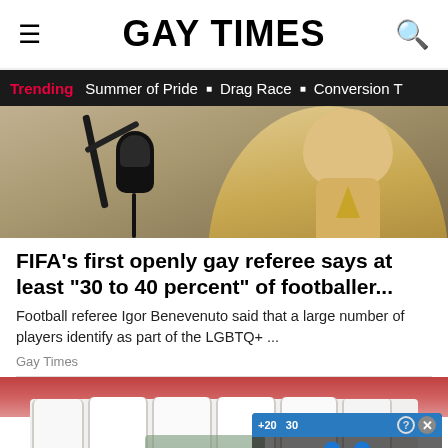GAY TIMES
Trending  Summer of Pride  Drag Race  Conversion T
[Figure (photo): Man at a podcast microphone, wearing a beige/yellow v-neck shirt, with recording equipment visible]
FIFA's first openly gay referee says at least "30 to 40 percent" of footballer...
Football referee Igor Benevenuto said that a large number of players identify as part of the LGBTQ+ ...
Gay Times
[Figure (photo): Close-up macro photo of teeth and gums, with an ad overlay showing 'Hold and Move' with a close/question button]
Hold and Move